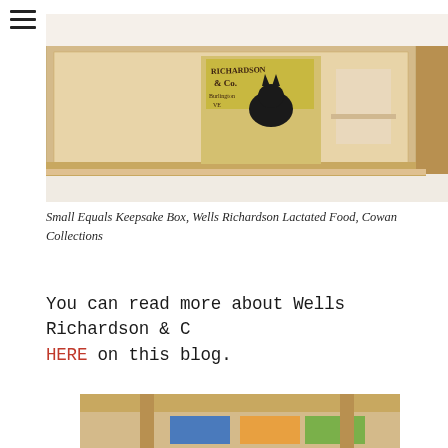[Figure (photo): A wooden keepsake/display box shelf shown at an angle, containing an antique Wells Richardson & Co. Burlington VE advertisement card featuring a black cat, along with other vintage paper items.]
Small Equals Keepsake Box, Wells Richardson Lactated Food, Cowan Collections
You can read more about Wells Richardson & C HERE on this blog.
[Figure (photo): Bottom portion of another wooden display box or keepsake box, partially visible, showing colorful items inside.]